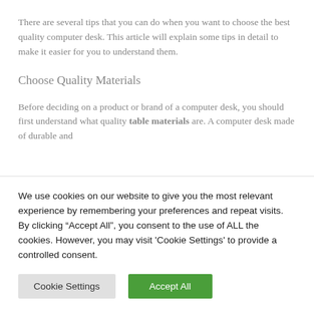There are several tips that you can do when you want to choose the best quality computer desk. This article will explain some tips in detail to make it easier for you to understand them.
Choose Quality Materials
Before deciding on a product or brand of a computer desk, you should first understand what quality table materials are. A computer desk made of durable and
We use cookies on our website to give you the most relevant experience by remembering your preferences and repeat visits. By clicking “Accept All”, you consent to the use of ALL the cookies. However, you may visit 'Cookie Settings' to provide a controlled consent.
Cookie Settings
Accept All